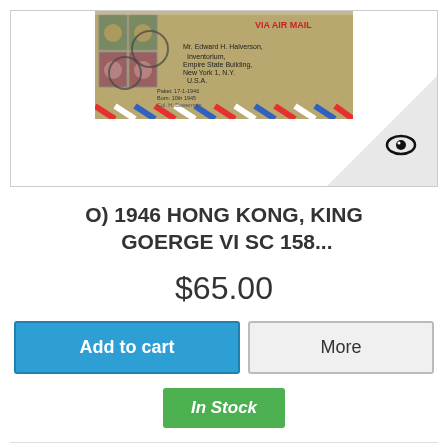[Figure (photo): A vintage 1946 Hong Kong airmail envelope with King George VI stamps. The envelope shows postmarks and handwritten addresses. It has red, white, and blue airmail border markings. A watermark/logo (eye icon) appears in the lower right corner of the image box.]
O) 1946 HONG KONG, KING  GOERGE VI SC 158...
$65.00
Add to cart
More
In Stock
Add to Wishlist
+ Add to Compare